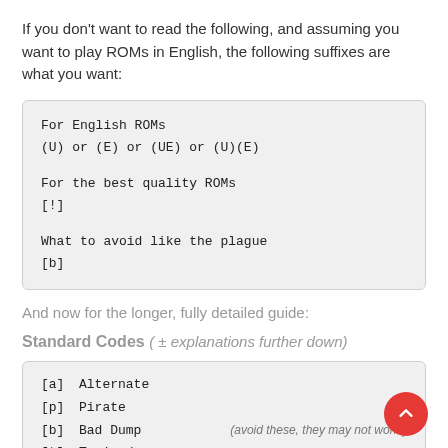If you don't want to read the following, and assuming you want to play ROMs in English, the following suffixes are what you want:
For English ROMs
(U) or (E) or (UE) or (U)(E)

For the best quality ROMs
[!]

What to avoid like the plague
[b]
And now for the longer, fully detailed guide:
Standard Codes ( ± explanations further down)
[a]  Alternate
[p]  Pirate
[b]  Bad Dump     (avoid these, they may not work!)
[t]  Trained